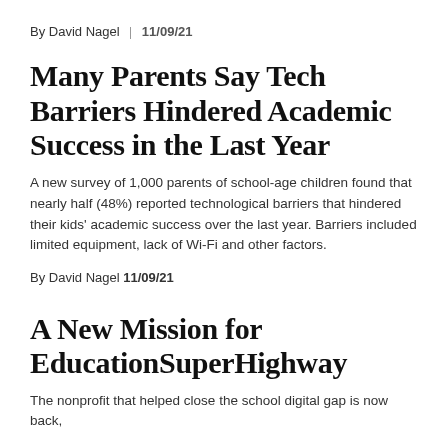By David Nagel | 11/09/21
Many Parents Say Tech Barriers Hindered Academic Success in the Last Year
A new survey of 1,000 parents of school-age children found that nearly half (48%) reported technological barriers that hindered their kids' academic success over the last year. Barriers included limited equipment, lack of Wi-Fi and other factors.
By David Nagel | 11/09/21
A New Mission for EducationSuperHighway
The nonprofit that helped close the school digital gap is now back,